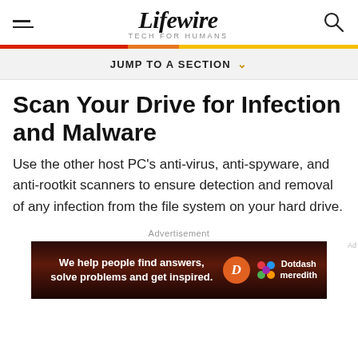Lifewire TECH FOR HUMANS
JUMP TO A SECTION
Scan Your Drive for Infection and Malware
Use the other host PC’s anti-virus, anti-spyware, and anti-rootkit scanners to ensure detection and removal of any infection from the file system on your hard drive.
Advertisement
[Figure (other): Dotdash Meredith advertisement banner: dark red background with text 'We help people find answers, solve problems and get inspired.' with Dotdash Meredith logo]